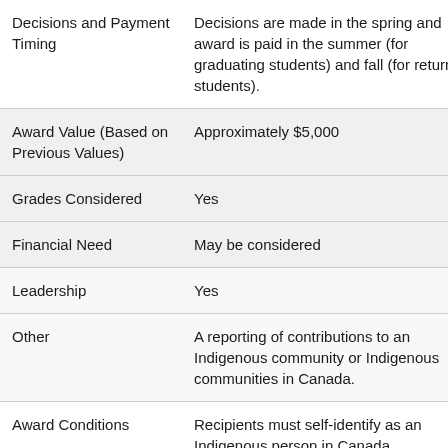|  |  |
| --- | --- |
| Decisions and Payment Timing | Decisions are made in the spring and award is paid in the summer (for graduating students) and fall (for returning students). |
| Award Value (Based on Previous Values) | Approximately $5,000 |
| Grades Considered | Yes |
| Financial Need | May be considered |
| Leadership | Yes |
| Other | A reporting of contributions to an Indigenous community or Indigenous communities in Canada. |
| Award Conditions | Recipients must self-identify as an Indigenous person in Canada |